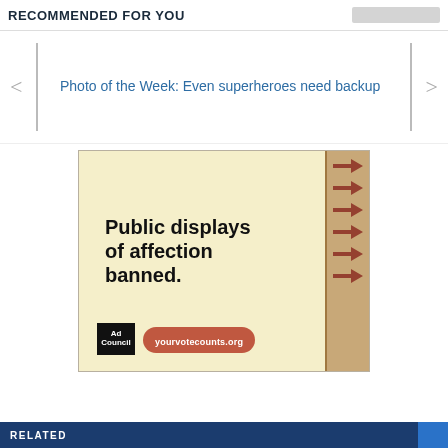RECOMMENDED FOR YOU
Photo of the Week: Even superheroes need backup
[Figure (photo): Advertisement image on a yellow legal-pad-style notebook background. Bold text reads 'Public displays of affection banned.' Bottom shows Ad Council logo and yourvotecounts.org URL pill. Right side shows notebook spine with brown arrow tabs pointing left.]
RELATED